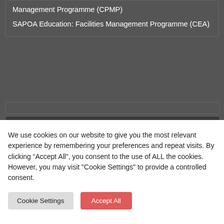Management Programme (CPMP)
SAPOA Education: Facilities Management Programme (CEA)
FIND INFO
We use cookies on our website to give you the most relevant experience by remembering your preferences and repeat visits. By clicking “Accept All”, you consent to the use of ALL the cookies. However, you may visit "Cookie Settings" to provide a controlled consent.
Cookie Settings  Accept All